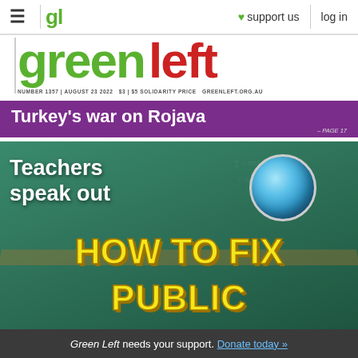≡ | gl | ♥ support us | log in
[Figure (photo): Green Left magazine cover number 1357, August 23 2022. Features masthead 'green left' in green and red, purple banner reading 'Turkey's war on Rojava – PAGE 17', photo of classroom chalkboard with globe, text 'Teachers speak out' and large yellow text 'HOW TO FIX PUBLIC']
Green Left needs your support. Donate today »